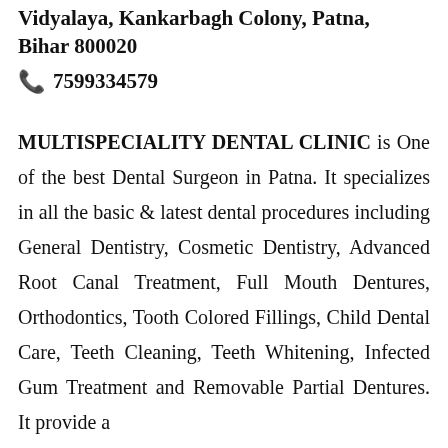Vidyalaya, Kankarbagh Colony, Patna, Bihar 800020
📞 7599334579
MULTISPECIALITY DENTAL CLINIC is One of the best Dental Surgeon in Patna. It specializes in all the basic & latest dental procedures including General Dentistry, Cosmetic Dentistry, Advanced Root Canal Treatment, Full Mouth Dentures, Orthodontics, Tooth Colored Fillings, Child Dental Care, Teeth Cleaning, Teeth Whitening, Infected Gum Treatment and Removable Partial Dentures. It provide a